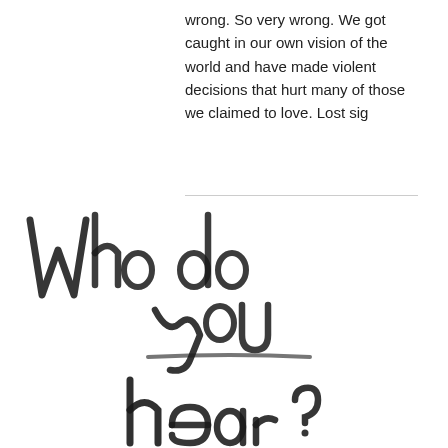wrong. So very wrong. We got caught in our own vision of the world and have made violent decisions that hurt many of those we claimed to love. Lost sig
[Figure (illustration): Large handwritten script text reading 'Who do you hear?' in black brush/marker strokes on white background, spanning the lower two-thirds of the page.]